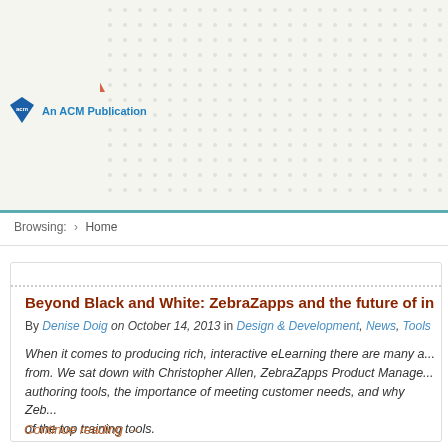[Figure (logo): Lightning bolt logo with yellow and red stripes, ACM diamond badge with 'An ACM Publication' text, decorative dot pattern background]
Browsing: › Home
Beyond Black and White: ZebraZapps and the future of ins...
By Denise Doig on October 14, 2013 in Design & Development, News, Tools
When it comes to producing rich, interactive eLearning there are many a... from. We sat down with Christopher Allen, ZebraZapps Product Manage... authoring tools, the importance of meeting customer needs, and why Zeb... of the top training tools.
Continue reading →